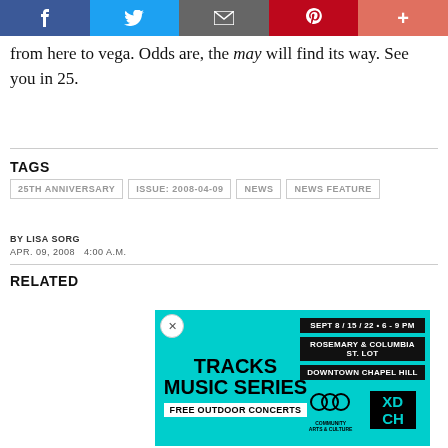[Figure (other): Social media sharing bar with Facebook, Twitter, Email, Pinterest, and more buttons]
from here to vega. Odds are, the may will find its way. See you in 25.
TAGS
25TH ANNIVERSARY
ISSUE: 2008-04-09
NEWS
NEWS FEATURE
BY LISA SORG
APR. 09, 2008   4:00 A.M.
RELATED
[Figure (other): Advertisement for Tracks Music Series - Sept 8/15/22 6-9 PM, Rosemary & Columbia St. Lot, Downtown Chapel Hill, Free Outdoor Concerts, Community Arts & Culture, XDCH logos]